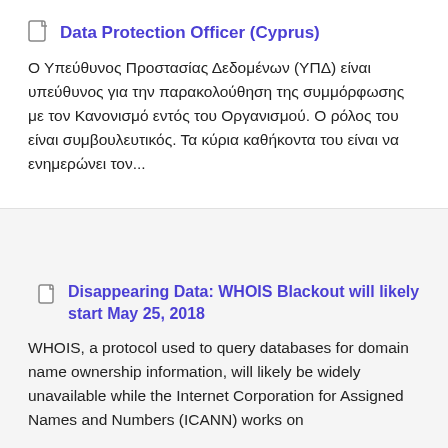Data Protection Officer (Cyprus)
Ο Υπεύθυνος Προστασίας Δεδομένων (ΥΠΔ) είναι υπεύθυνος για την παρακολούθηση της συμμόρφωσης με τον Κανονισμό εντός του Οργανισμού. Ο ρόλος του είναι συμβουλευτικός. Τα κύρια καθήκοντα του είναι να ενημερώνει τον...
Disappearing Data: WHOIS Blackout will likely start May 25, 2018
WHOIS, a protocol used to query databases for domain name ownership information, will likely be widely unavailable while the Internet Corporation for Assigned Names and Numbers (ICANN) works on...